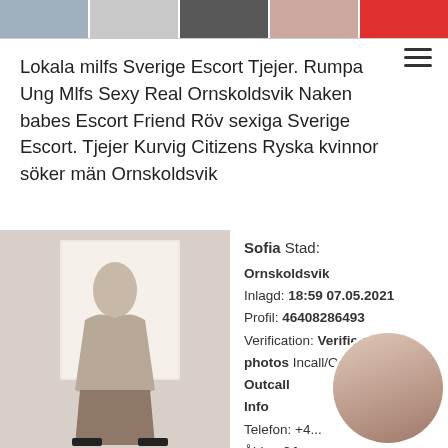[Figure (photo): Strip of thumbnail photos across the top of the page]
Lokala milfs Sverige Escort Tjejer. Rumpa Ung Mlfs Sexy Real Ornskoldsvik Naken babes Escort Friend Röv sexiga Sverige Escort. Tjejer Kurvig Citizens Ryska kvinnor söker män Ornskoldsvik
[Figure (photo): Woman in fishnet stockings and heels posing at a window]
Sofia Stad: Ornskoldsvik
Inlagd: 18:59 07.05.2021
Profil: 46408286493
Verification: Verified photos Incall/Outcall
Info
Telefon: +4...
Ålder: 24
Höjd: 161 (cm)
[Figure (photo): Circular cropped photo overlay in bottom right]